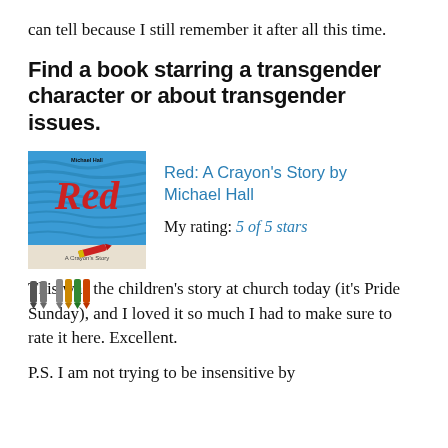can tell because I still remember it after all this time.
Find a book starring a transgender character or about transgender issues.
[Figure (illustration): Book cover of 'Red: A Crayon's Story' by Michael Hall, showing a blue crayon-textured background with the word 'Red' in large letters and a red crayon below, plus small crayon icons]
Red: A Crayon's Story by Michael Hall
My rating: 5 of 5 stars
This was the children's story at church today (it's Pride Sunday), and I loved it so much I had to make sure to rate it here. Excellent.
P.S. I am not trying to be insensitive by